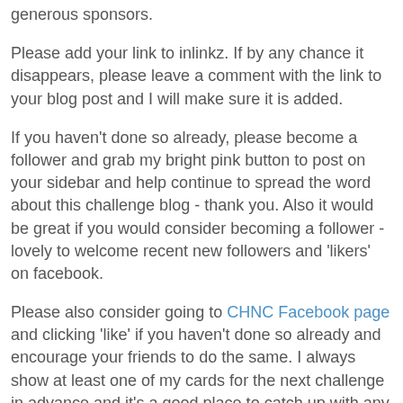generous sponsors.
Please add your link to inlinkz. If by any chance it disappears, please leave a comment with the link to your blog post and I will make sure it is added.
If you haven't done so already, please become a follower and grab my bright pink button to post on your sidebar and help continue to spread the word about this challenge blog - thank you. Also it would be great if you would consider becoming a follower - lovely to welcome recent new followers and 'likers' on facebook.
Please also consider going to CHNC Facebook page and clicking 'like' if you haven't done so already and encourage your friends to do the same. I always show at least one of my cards for the next challenge in advance and it's a good place to catch up with any news, winners etc.
Don't forget
Don't forget that 'anything goes' monthly challenges are on